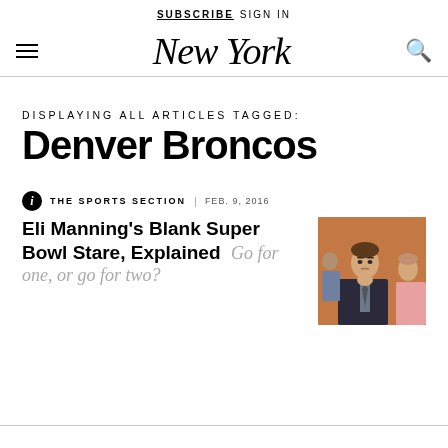SUBSCRIBE   SIGN IN
New York
DISPLAYING ALL ARTICLES TAGGED:
Denver Broncos
THE SPORTS SECTION | FEB. 9, 2016
Eli Manning's Blank Super Bowl Stare, Explained Go for one, or go for two?
[Figure (photo): Photo of Eli Manning with a blank stare at the Super Bowl, seated next to a woman]